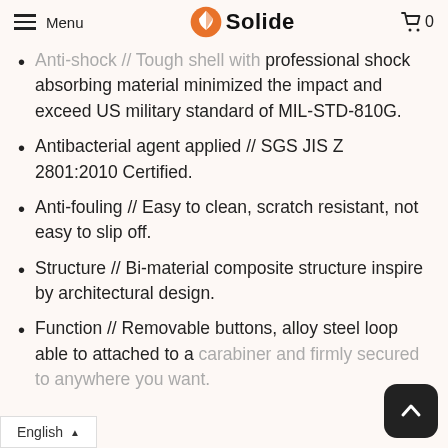Menu | Solide | 0
Anti-shock // Tough shell with professional shock absorbing material minimized the impact and exceed US military standard of MIL-STD-810G.
Antibacterial agent applied // SGS JIS Z 2801:2010 Certified.
Anti-fouling // Easy to clean, scratch resistant, not easy to slip off.
Structure // Bi-material composite structure inspire by architectural design.
Function // Removable buttons, alloy steel loop able to attached to a carabiner and firmly secured to anywhere you want.